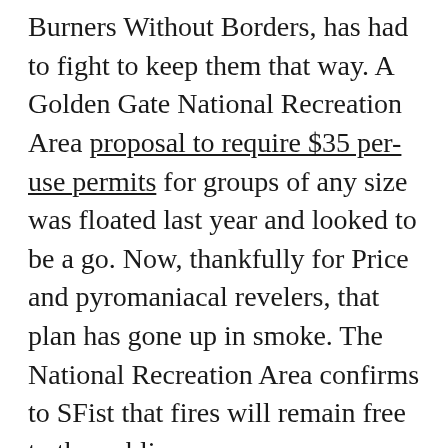Burners Without Borders, has had to fight to keep them that way. A Golden Gate National Recreation Area proposal to require $35 per-use permits for groups of any size was floated last year and looked to be a go. Now, thankfully for Price and pyromaniacal revelers, that plan has gone up in smoke. The National Recreation Area confirms to SFist that fires will remain free to the public.